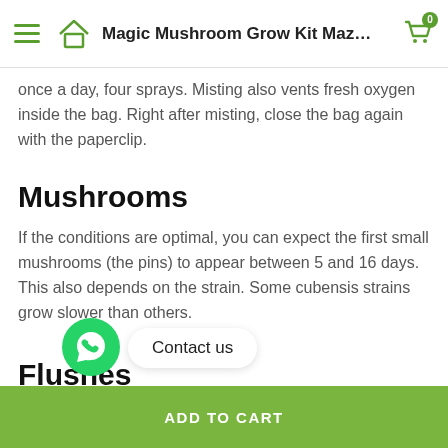Magic Mushroom Grow Kit Maz…
once a day, four sprays. Misting also vents fresh oxygen inside the bag. Right after misting, close the bag again with the paperclip.
Mushrooms
If the conditions are optimal, you can expect the first small mushrooms (the pins) to appear between 5 and 16 days. This also depends on the strain. Some cubensis strains grow slower than others.
Flushes
Contact us
ADD TO CART